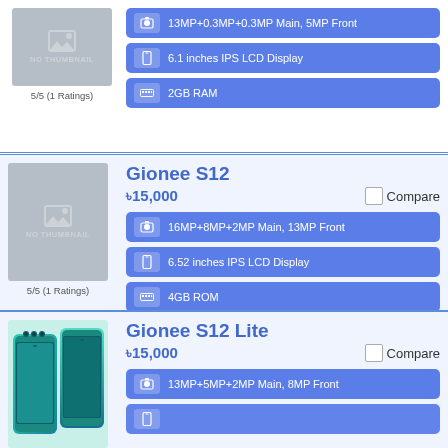[Figure (screenshot): No thumbnail placeholder image for first product]
5/5 (1 Ratings)
13MP+0.3MP+0.3MP Main, 5MP Front
6.1 inches IPS LCD Display
2GB RAM
Gionee S12
৳15,000
Compare
[Figure (screenshot): No thumbnail placeholder image for Gionee S12]
5/5 (1 Ratings)
16MP+8MP+2MP Main, 13MP Front
6.52 inches IPS LCD Display
4GB ROM
Gionee S12 Lite
৳15,000
Compare
[Figure (photo): Gionee S12 Lite phone product photo in teal/green color]
13MP+5MP+2MP Main, 8MP Front